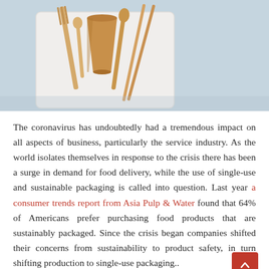[Figure (photo): Overhead photo of eco-friendly disposable cutlery and a paper cup on a light blue background — wooden forks, spoons, and chopsticks arranged on a white tray.]
The coronavirus has undoubtedly had a tremendous impact on all aspects of business, particularly the service industry. As the world isolates themselves in response to the crisis there has been a surge in demand for food delivery, while the use of single-use and sustainable packaging is called into question. Last year a consumer trends report from Asia Pulp & Water found that 64% of Americans prefer purchasing food products that are sustainably packaged. Since the crisis began companies shifted their concerns from sustainability to product safety, in turn shifting production to single-use packaging..